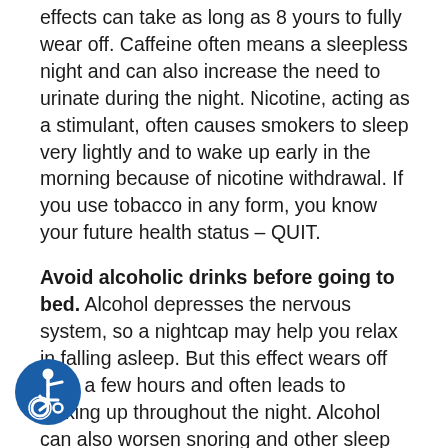effects can take as long as 8 yours to fully wear off. Caffeine often means a sleepless night and can also increase the need to urinate during the night. Nicotine, acting as a stimulant, often causes smokers to sleep very lightly and to wake up early in the morning because of nicotine withdrawal. If you use tobacco in any form, you know your future health status – QUIT.
Avoid alcoholic drinks before going to bed. Alcohol depresses the nervous system, so a nightcap may help you relax in falling asleep. But this effect wears off after a few hours and often leads to waking up throughout the night. Alcohol can also worsen snoring and other sleep breathing problems (e.g. sleep apnea).
Avoid meals and beverages within 3 hours of bedtime. A light snack is OK. Drink only a small amount of water to take any nighttime medications. Evening fluid intake often causes you to wake up during the night to urinate.
[Figure (illustration): Blue circular accessibility icon showing a person in a wheelchair]